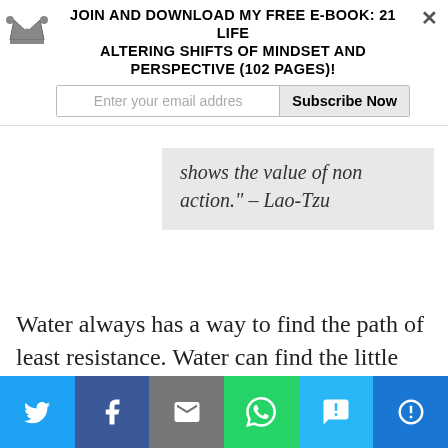Join and download my free e-book: 21 Life Altering Shifts Of Mindset And Perspective (102 pages)!
Enter your email addres  |  Subscribe Now
shows the value of non action." – Lao-Tzu
Water always has a way to find the path of least resistance. Water can find the little nooks and crevices and still flow downstream.
Water flows through bedrock and it
[Figure (infographic): Social media share bar with Twitter, Facebook, Email, WhatsApp, SMS, and More buttons]